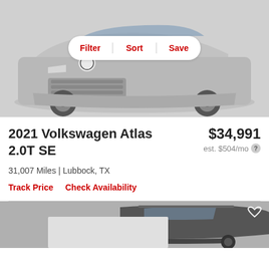[Figure (photo): Front view of a silver 2021 Volkswagen Atlas SUV with Filter, Sort, Save buttons overlaid]
2021 Volkswagen Atlas 2.0T SE
$34,991
est. $504/mo
31,007 Miles | Lubbock, TX
Track Price   Check Availability
[Figure (photo): Partial view of a dark-colored SUV at the bottom of the page, partially cropped]